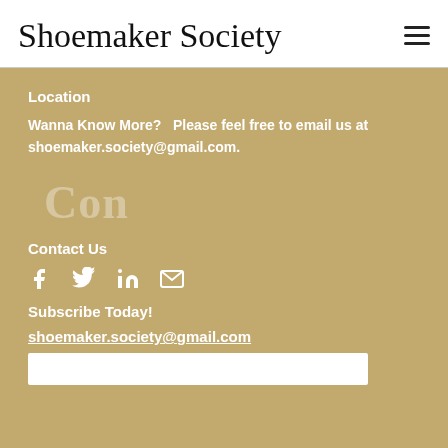Shoemaker Society
Location
Wanna Know More?   Please feel free to email us at shoemaker.society@gmail.com.
Con
Contact Us
[Figure (infographic): Social media icons: Facebook, Twitter, LinkedIn, Email/envelope]
Subscribe Today!
shoemaker.society@gmail.com
[Figure (other): White input text box at bottom]